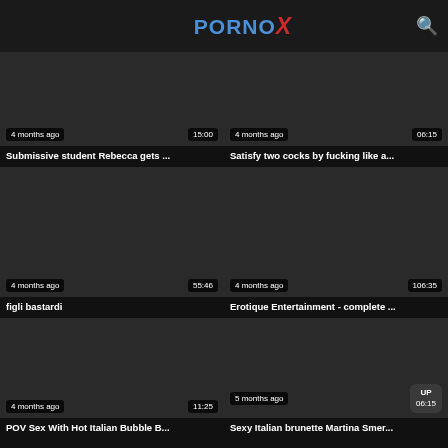PORNOX
[Figure (screenshot): Video thumbnail dark placeholder, badge: 4 months ago | 15:00]
Submissive student Rebecca gets ...
[Figure (screenshot): Video thumbnail dark placeholder, badge: 4 months ago | 06:15]
Satisfy two cocks by fucking like a...
[Figure (screenshot): Video thumbnail dark placeholder, badge: 4 months ago | 55:46]
figli bastardi
[Figure (screenshot): Video thumbnail dark placeholder, badge: 4 months ago | 106:35]
Erotique Entertainment - complete ...
[Figure (screenshot): Video thumbnail dark placeholder, badge: 4 months ago | 11:25]
POV Sex With Hot Italian Bubble B...
[Figure (screenshot): Video thumbnail dark placeholder, badge: 5 months ago | 06:15]
Sexy Italian brunette Martina Smer...